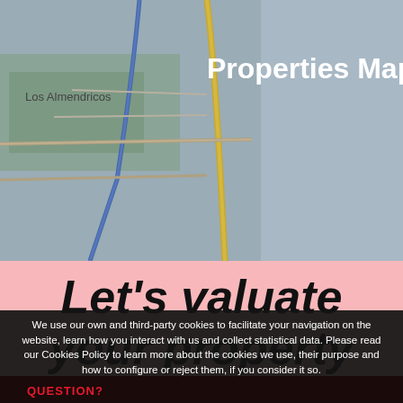[Figure (map): Street map showing area near Los Almendricos with roads, green areas, and water features in muted gray tones]
Properties Map
Let's valuate your property
We use our own and third-party cookies to facilitate your navigation on the website, learn how you interact with us and collect statistical data. Please read our Cookies Policy to learn more about the cookies we use, their purpose and how to configure or reject them, if you consider it so.
Accept all | Manage Cookies | Reject
QUESTION?